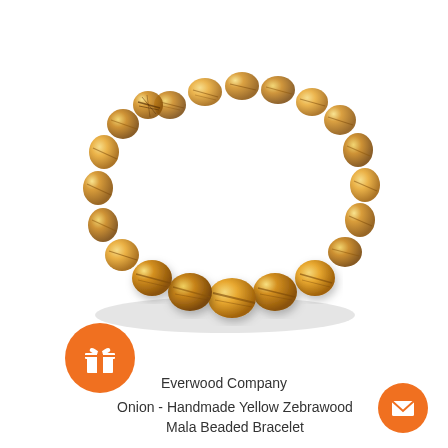[Figure (photo): A bracelet made of round yellow zebrawood mala beads arranged in an oval/circle shape on a white background. The beads are golden-yellow with brown striped wood grain patterns.]
Everwood Company
Onion - Handmade Yellow Zebrawood Mala Beaded Bracelet